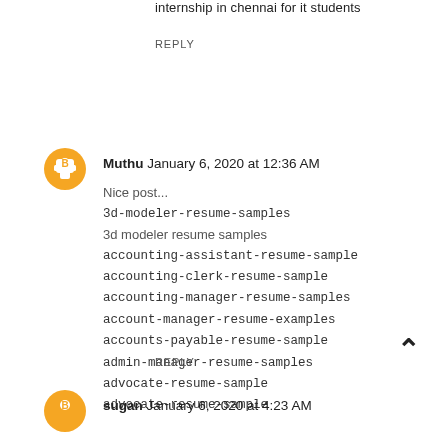internship in chennai for it students
REPLY
Muthu January 6, 2020 at 12:36 AM
Nice post...
3d-modeler-resume-samples
3d modeler resume samples
accounting-assistant-resume-sample
accounting-clerk-resume-sample
accounting-manager-resume-samples
account-manager-resume-examples
accounts-payable-resume-sample
admin-manager-resume-samples
advocate-resume-sample
advocate-resume-sample
REPLY
sugan January 6, 2020 at 4:23 AM